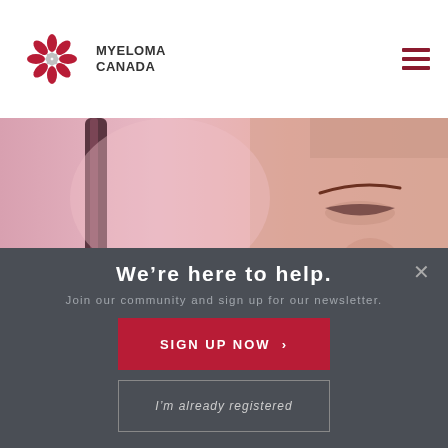[Figure (logo): Myeloma Canada snowflake logo with text MYELOMA CANADA]
[Figure (photo): Close-up of a person's face with a pinkish blurred background and a dark cylindrical object on the left]
We’re here to help.
Join our community and sign up for our newsletter.
SIGN UP NOW ›
I’m already registered